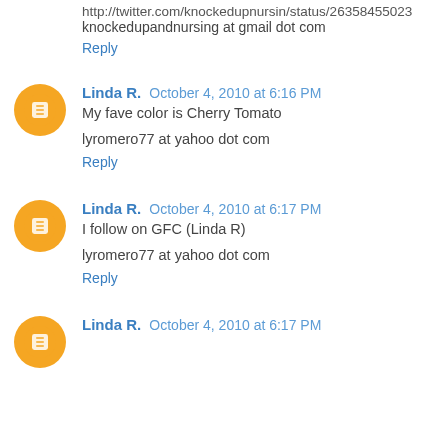http://twitter.com/knockedupnursin/status/26358455023
knockedupandnursing at gmail dot com
Reply
Linda R.  October 4, 2010 at 6:16 PM
My fave color is Cherry Tomato
lyromero77 at yahoo dot com
Reply
Linda R.  October 4, 2010 at 6:17 PM
I follow on GFC (Linda R)
lyromero77 at yahoo dot com
Reply
Linda R.  October 4, 2010 at 6:17 PM